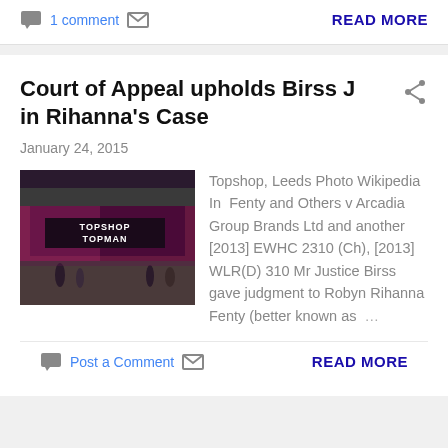1 comment
READ MORE
Court of Appeal upholds Birss J in Rihanna's Case
January 24, 2015
[Figure (photo): Exterior photo of a Topshop/Topman store in Leeds, lit with pink/purple lighting at night, with people walking outside]
Topshop, Leeds Photo Wikipedia In Fenty and Others v Arcadia Group Brands Ltd and another [2013] EWHC 2310 (Ch), [2013] WLR(D) 310 Mr Justice Birss gave judgment to Robyn Rihanna Fenty (better known as ...
Post a Comment
READ MORE